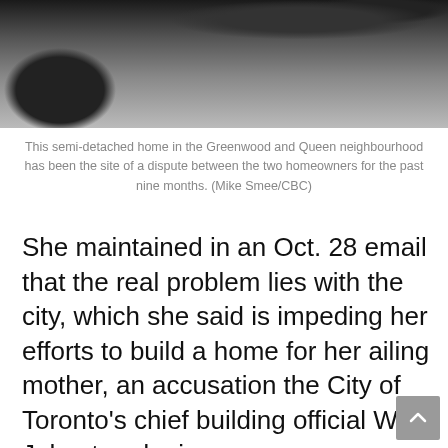[Figure (photo): Partial view of a dark car (black vehicle) from a low angle, showing the front wheel and hood, taken in a driveway or street setting.]
This semi-detached home in the Greenwood and Queen neighbourhood has been the site of a dispute between the two homeowners for the past nine months. (Mike Smee/CBC)
She maintained in an Oct. 28 email that the real problem lies with the city, which she said is impeding her efforts to build a home for her ailing mother, an accusation the City of Toronto’s chief building official Will Johnston denies.
“We expect property owners to carry out that construction in a way that it meets all of the city requirements,” he said.
“And when we become aware of those issues, we